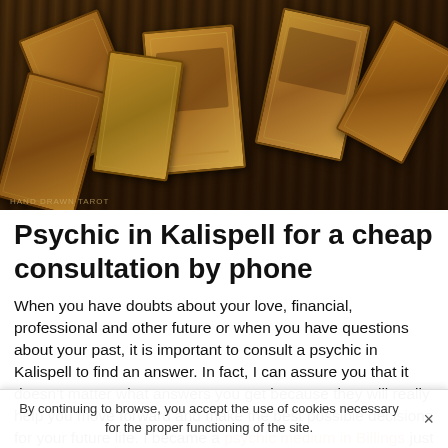[Figure (photo): Overhead photo of several tarot cards spread out on a dark wooden table, cards have aged brown/orange tones with illustrated figures and symbols]
Psychic in Kalispell for a cheap consultation by phone
When you have doubts about your love, financial, professional and other future or when you have questions about your past, it is important to consult a psychic in Kalispell to find an answer. In fact, I can assure you that it doesn't matter what answers you get because they will really help you move forward and make the best possible decisions for your future life. I became a psychic medium in Billings just to help people who are always asking questions but can't find the answer to their questions. In
By continuing to browse, you accept the use of cookies necessary for the proper functioning of the site.